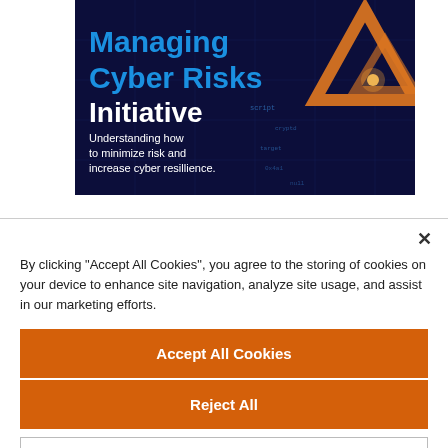[Figure (illustration): Dark blue/purple cyberpunk-style banner with glowing orange triangle and code text overlay. Text reads 'Managing Cyber Risks Initiative — Understanding how to minimize risk and increase cyber resillience.']
By clicking "Accept All Cookies", you agree to the storing of cookies on your device to enhance site navigation, analyze site usage, and assist in our marketing efforts.
Accept All Cookies
Reject All
Cookies Settings